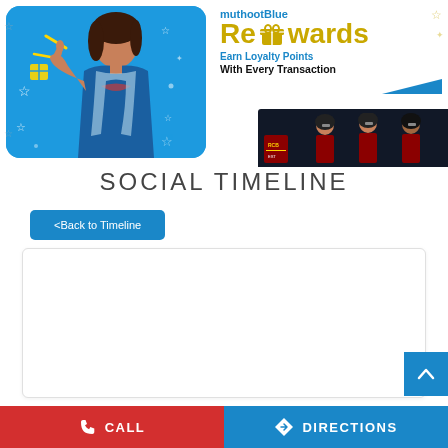[Figure (illustration): Muthoot Blue Rewards advertisement banner. Left side shows a woman in blue kurti with decorative stars and gift graphics on a blue rounded background. Right side shows 'muthootBlue Rewards' text with gift icon, 'Earn Loyalty Points With Every Transaction' tagline, and cricket players in RCB jerseys at the bottom right.]
SOCIAL TIMELINE
<Back to Timeline
[Figure (screenshot): White card content area, empty/loading state.]
CALL   DIRECTIONS